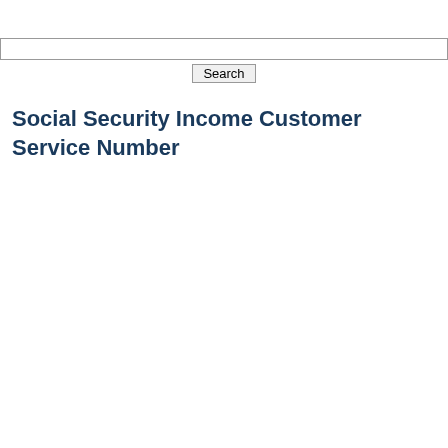[Figure (screenshot): Search bar input field with a Search button below it]
Social Security Income Customer Service Number